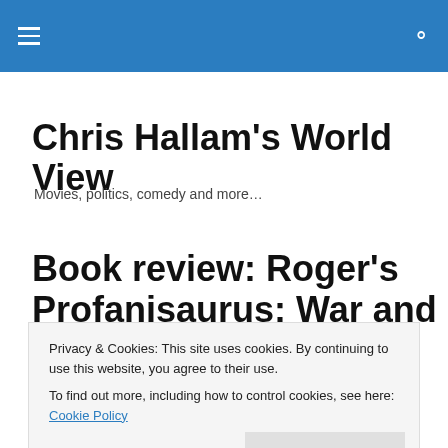Chris Hallam's World View — site header bar with hamburger menu and search icon
Chris Hallam's World View
Movies, politics, comedy and more...
Book review: Roger's Profanisaurus: War and Piss/Viz The Pieman's Wig
Privacy & Cookies: This site uses cookies. By continuing to use this website, you agree to their use.
To find out more, including how to control cookies, see here: Cookie Policy
Close and accept